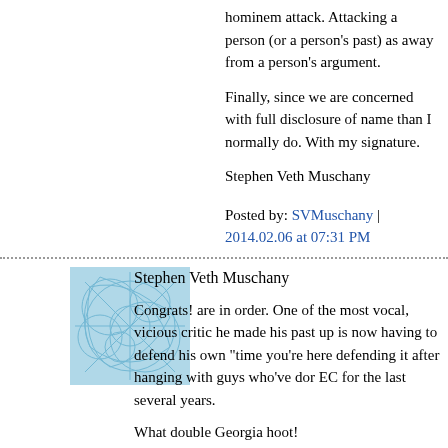hominem attack. Attacking a person (or a person's past) as a way away from a person's argument.
Finally, since we are concerned with full disclosure of name than I normally do. With my signature.
Stephen Veth Muschany
Posted by: SVMuschany | 2014.02.06 at 07:31 PM
Stephen Veth Muschany
Congrats! are in order. One of the most vocal, vicious critic he made his past up is now having to defend his own "time you're here defending it after hanging with guys who've dor EC for the last several years.

What double Georgia hoot!
Posted by: peterlumpkins | 2014.02.06 at 07:46 PM
Bro Peter,
Please define "hang out". At best, over the past year, I may comments/tweets/posts/ect that could be construed as "de